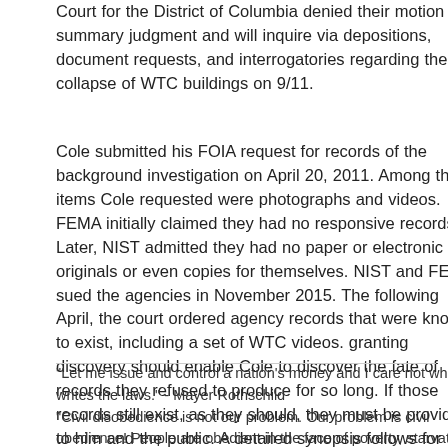Court for the District of Columbia denied their motion for summary judgment and will inquire via depositions, document requests, and interrogatories regarding the collapse of WTC buildings on 9/11.
Cole submitted his FOIA request for records of the background investigation on April 20, 2011. Among the items Cole requested were photographs and videos. FEMA initially claimed they had no responsive records. Later, NIST admitted they had no paper or electronic originals or even copies for themselves. NIST and FEMA sued the agencies in November 2015. The following April, the court ordered agency records that were known to exist, including a set of WTC videos. granting discovery should enable Cole to discover the fate of records they refused to produce for so long. If those records still exist, as they should, they must be provided to him and the public. A detailed synopsis follows for each agency. The decision by the Court is posted on the Lawyers' Committee website. This is an important case for which we will need your ongoing support to see us through.
"Let me issue and control a nation's money and I care not who writes the laws." - Mayer Rothschild "Civil disobedience is not our problem. Our problem is civil obedience! People are obedient in the face of poverty, starvation, stupidity, war and cruelty. Our problem is that grand thieves are running the country. That's our problem!" - Howard Zinn "If there is no struggle there is no progress. Power concedes nothing without a demand."